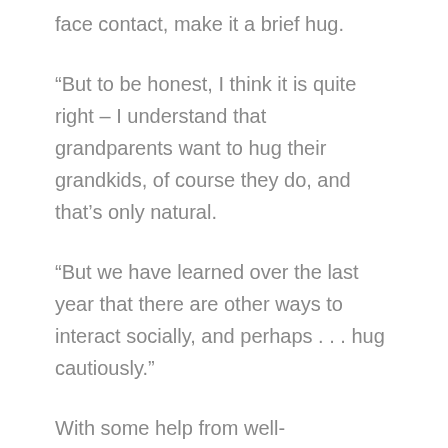face contact, make it a brief hug.
“But to be honest, I think it is quite right – I understand that grandparents want to hug their grandkids, of course they do, and that’s only natural.
“But we have learned over the last year that there are other ways to interact socially, and perhaps . . . hug cautiously.”
With some help from well-